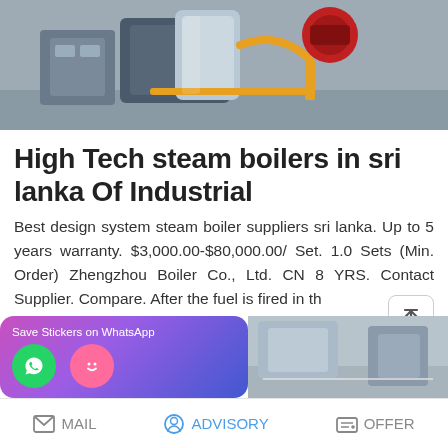[Figure (photo): Industrial steam boiler equipment in a factory/warehouse setting, showing blue/silver boiler unit with yellow safety rails and red components]
High Tech steam boilers in sri lanka Of Industrial
Best design system steam boiler suppliers sri lanka. Up to 5 years warranty. $3,000.00-$80,000.00/ Set. 1.0 Sets (Min. Order) Zhengzhou Boiler Co., Ltd. CN 8 YRS. Contact Supplier. Compare. After the fuel is fired in th
READ MORE
[Figure (screenshot): WhatsApp sticker saver banner with purple gradient background showing WhatsApp and emoji icons, and a partial boiler product image on the right]
MAIL   ADVISORY   OFFER